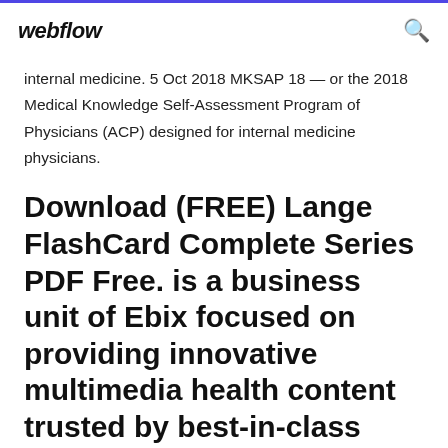webflow
internal medicine. 5 Oct 2018 MKSAP 18 — or the 2018 Medical Knowledge Self-Assessment Program of Physicians (ACP) designed for internal medicine physicians.
Download (FREE) Lange FlashCard Complete Series PDF Free. is a business unit of Ebix focused on providing innovative multimedia health content trusted by best-in-class websites, consumer health portals, health care, biomedical